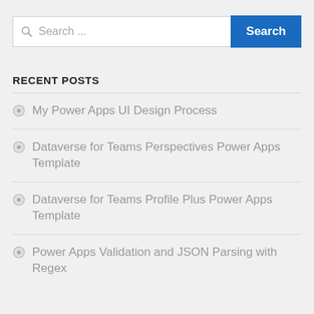[Figure (screenshot): Search bar with text input placeholder 'Search ...' and a blue 'Search' button]
RECENT POSTS
My Power Apps UI Design Process
Dataverse for Teams Perspectives Power Apps Template
Dataverse for Teams Profile Plus Power Apps Template
Power Apps Validation and JSON Parsing with Regex